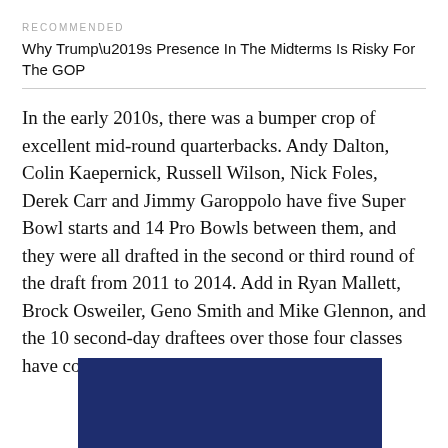RECOMMENDED
Why Trump’s Presence In The Midterms Is Risky For The GOP
In the early 2010s, there was a bumper crop of excellent mid-round quarterbacks. Andy Dalton, Colin Kaepernick, Russell Wilson, Nick Foles, Derek Carr and Jimmy Garoppolo have five Super Bowl starts and 14 Pro Bowls between them, and they were all drafted in the second or third round of the draft from 2011 to 2014. Add in Ryan Mallett, Brock Osweiler, Geno Smith and Mike Glennon, and the 10 second-day draftees over those four classes have combined for an eye-popping 637 starts.
[Figure (photo): Dark navy blue image, partially visible at the bottom of the page]